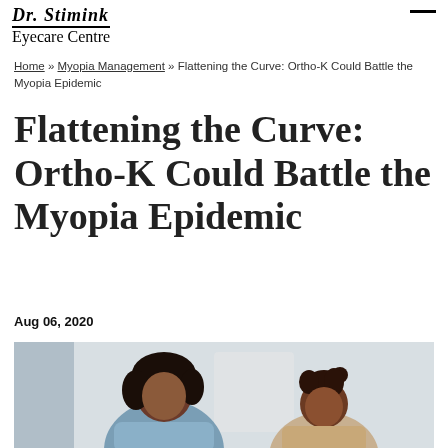Dr. Stimink Eyecare Centre
Home » Myopia Management » Flattening the Curve: Ortho-K Could Battle the Myopia Epidemic
Flattening the Curve: Ortho-K Could Battle the Myopia Epidemic
Aug 06, 2020
[Figure (photo): A woman and a young girl looking down together, possibly at schoolwork, in a bright indoor setting.]